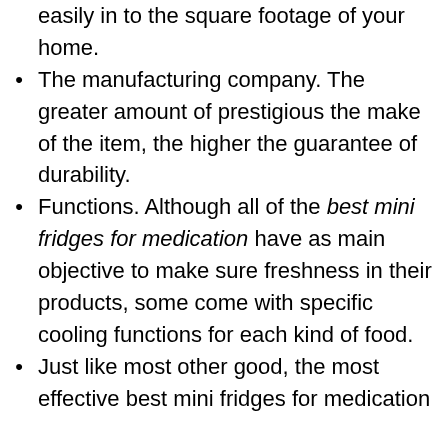easily in to the square footage of your home.
The manufacturing company. The greater amount of prestigious the make of the item, the higher the guarantee of durability.
Functions. Although all of the best mini fridges for medication have as main objective to make sure freshness in their products, some come with specific cooling functions for each kind of food.
Just like most other good, the most effective best mini fridges for medication